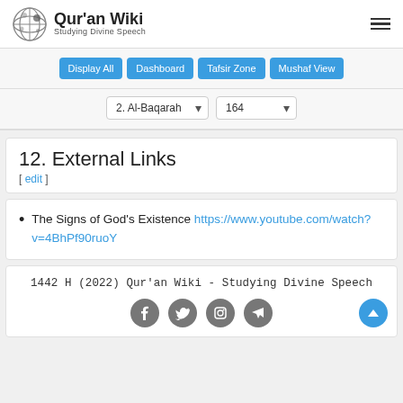Qur'an Wiki - Studying Divine Speech
Display All | Dashboard | Tafsir Zone | Mushaf View
2. Al-Baqarah | 164
12. External Links
[ edit ]
The Signs of God's Existence https://www.youtube.com/watch?v=4BhPf90ruoY
1442 H (2022) Qur'an Wiki - Studying Divine Speech